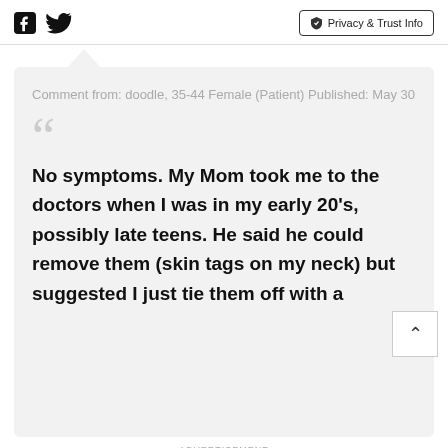Facebook Twitter Privacy & Trust Info
Comment from: doodle, 35-44 Female (Patient) Published: May 30
No symptoms. My Mom took me to the doctors when I was in my early 20's, possibly late teens. He said he could remove them (skin tags on my neck) but suggested I just tie them off with a
ADVERTISEMENT
Pvmark Women Apparel & Accessories OPEN